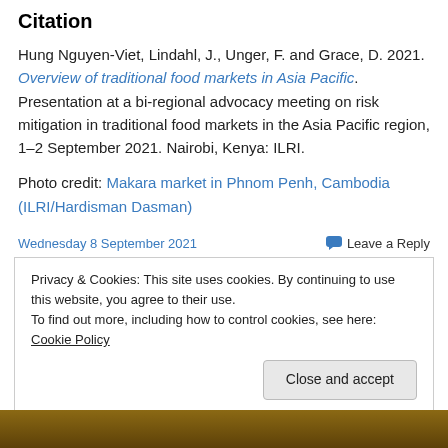Citation
Hung Nguyen-Viet, Lindahl, J., Unger, F. and Grace, D. 2021. Overview of traditional food markets in Asia Pacific. Presentation at a bi-regional advocacy meeting on risk mitigation in traditional food markets in the Asia Pacific region, 1–2 September 2021. Nairobi, Kenya: ILRI.
Photo credit: Makara market in Phnom Penh, Cambodia (ILRI/Hardisman Dasman)
Wednesday 8 September 2021    Leave a Reply
Privacy & Cookies: This site uses cookies. By continuing to use this website, you agree to their use. To find out more, including how to control cookies, see here: Cookie Policy
Close and accept